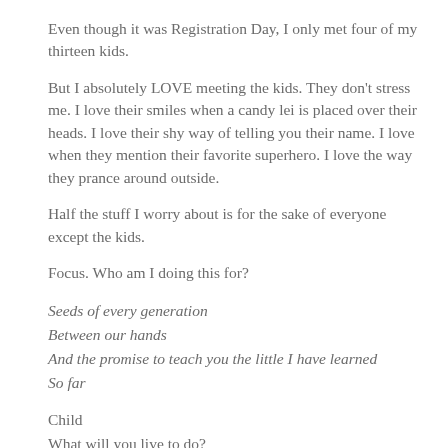Even though it was Registration Day, I only met four of my thirteen kids.
But I absolutely LOVE meeting the kids. They don't stress me. I love their smiles when a candy lei is placed over their heads. I love their shy way of telling you their name. I love when they mention their favorite superhero. I love the way they prance around outside.
Half the stuff I worry about is for the sake of everyone except the kids.
Focus. Who am I doing this for?
Seeds of every generation
Between our hands
And the promise to teach you the little I have learned
So far
Child
What will you live to do?